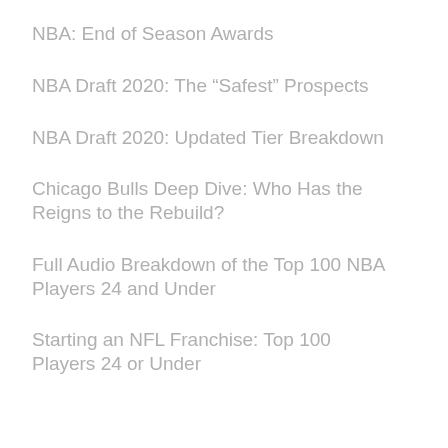NBA: End of Season Awards
NBA Draft 2020: The “Safest” Prospects
NBA Draft 2020: Updated Tier Breakdown
Chicago Bulls Deep Dive: Who Has the Reigns to the Rebuild?
Full Audio Breakdown of the Top 100 NBA Players 24 and Under
Starting an NFL Franchise: Top 100 Players 24 or Under